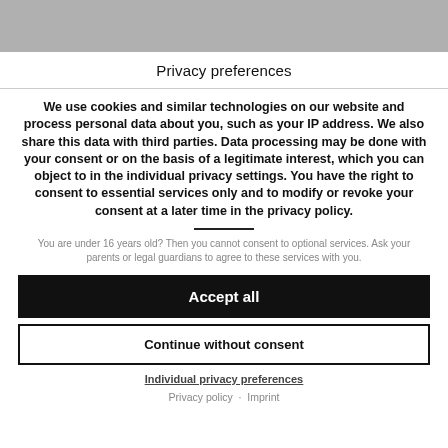Privacy preferences
We use cookies and similar technologies on our website and process personal data about you, such as your IP address. We also share this data with third parties. Data processing may be done with your consent or on the basis of a legitimate interest, which you can object to in the individual privacy settings. You have the right to consent to essential services only and to modify or revoke your consent at a later time in the privacy policy.
You are under 16 years old? Then you cannot consent to optional services. Ask your parents or legal guardians to agree to these services with you.
Accept all
Continue without consent
Individual privacy preferences
Privacy policy · Imprint